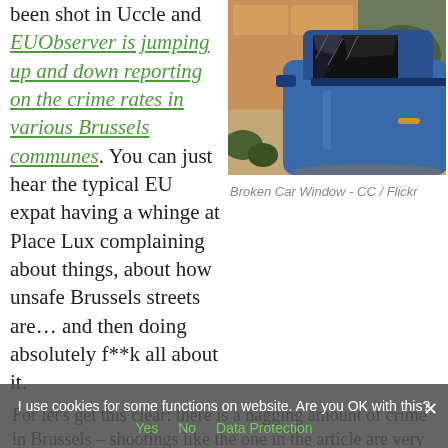been shot in Uccle and EUObserver is jumping up and down reporting on the crime rates in various Brussels communes. You can just hear the typical EU expat having a whinge at Place Lux complaining about things, about how unsafe Brussels streets are… and then doing absolutely f**k all about it.
[Figure (photo): Photo of a blue car with broken window, taken outside a garage]
Broken Car Window - CC / Flickr
For let's get this clear: there is a nagging amount of crime in Brussels – shootings like the one in the article are very rare, but cars being broken into and muggings are all too
I use cookies for some functions on website. Are you OK with this?